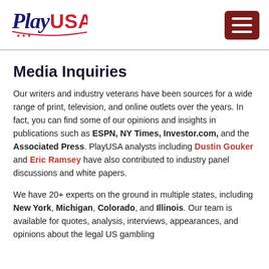PlayUSA [logo] [hamburger menu]
Media Inquiries
Our writers and industry veterans have been sources for a wide range of print, television, and online outlets over the years. In fact, you can find some of our opinions and insights in publications such as ESPN, NY Times, Investor.com, and the Associated Press. PlayUSA analysts including Dustin Gouker and Eric Ramsey have also contributed to industry panel discussions and white papers.
We have 20+ experts on the ground in multiple states, including New York, Michigan, Colorado, and Illinois. Our team is available for quotes, analysis, interviews, appearances, and opinions about the legal US gambling